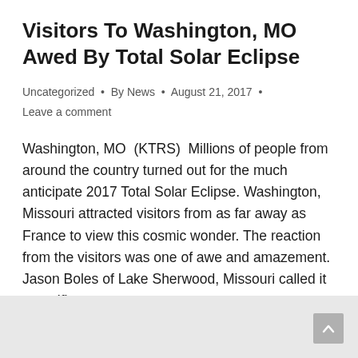Visitors To Washington, MO Awed By Total Solar Eclipse
Uncategorized • By News • August 21, 2017 •
Leave a comment
Washington, MO  (KTRS)  Millions of people from around the country turned out for the much anticipate 2017 Total Solar Eclipse. Washington, Missouri attracted visitors from as far away as France to view this cosmic wonder. The reaction from the visitors was one of awe and amazement. Jason Boles of Lake Sherwood, Missouri called it magnificent,…